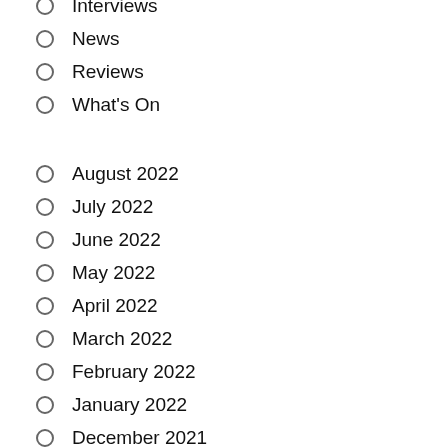Interviews
News
Reviews
What's On
August 2022
July 2022
June 2022
May 2022
April 2022
March 2022
February 2022
January 2022
December 2021
November 2021
October 2021